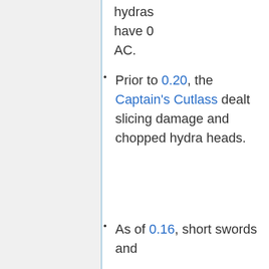hydras have 0 AC.
Prior to 0.20, the Captain's Cutlass dealt slicing damage and chopped hydra heads.
As of 0.16, short swords and